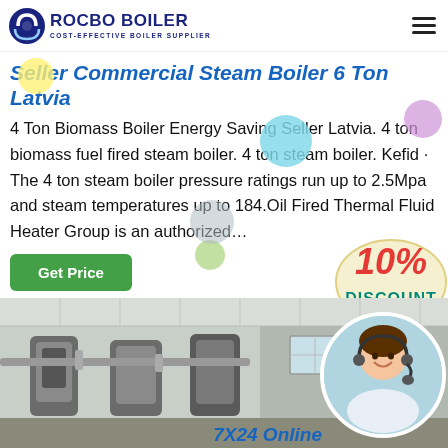[Figure (logo): Rocbo Boiler logo with circular icon and text 'ROCBO BOILER / COST-EFFECTIVE BOILER SUPPLIER']
Seller Commercial Steam Boiler 6 Ton Latvia
4 Ton Biomass Boiler Energy Saving Seller Latvia. 4 ton biomass fuel fired steam boiler. 4 ton steam boiler. Kefid · The 4 ton steam boiler pressure ratings run up to 2.5Mpa and steam temperatures up to 184.Oil Fired Thermal Fluid Heater Group is an authorized…
[Figure (other): Green 'Get Price' button]
[Figure (other): 10% Discount badge/sticker in red and teal]
[Figure (photo): Industrial boiler room with large steel boilers and pipes, and a customer service representative in a circular inset with '7X24 Online' text below]